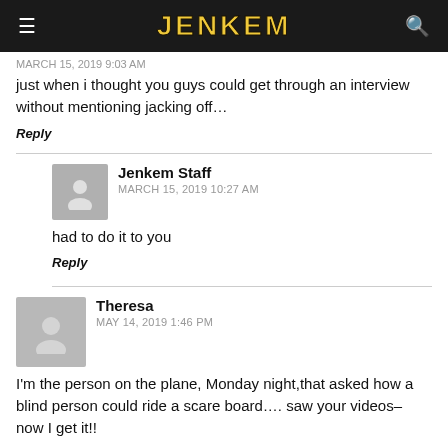JENKEM
just when i thought you guys could get through an interview without mentioning jacking off…
Reply
Jenkem Staff
MARCH 15, 2019 10:27 AM
had to do it to you
Reply
Theresa
MAY 14, 2019 1:46 PM
I'm the person on the plane, Monday night,that asked how a blind person could ride a scare board…. saw your videos– now I get it!!
Reply
LEAVE A COMMENT